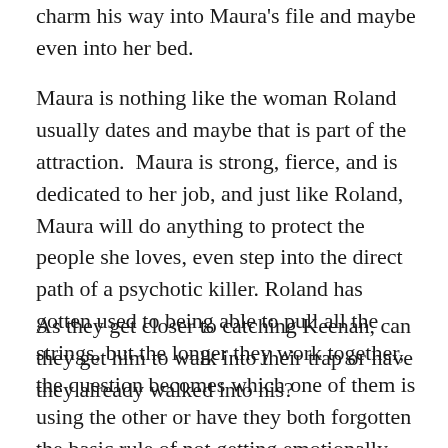charm his way into Maura's file and maybe even into her bed.
Maura is nothing like the woman Roland usually dates and maybe that is part of the attraction.  Maura is strong, fierce, and is dedicated to her job, and just like Roland, Maura will do anything to protect the people she loves, even step into the direct path of a psychotic killer. Roland has gotten used to being able to pull all the strings, but the longer they work together, the question becomes which one of them is using the other or have they both forgotten the basic rule of not getting emotionally involved?
As they get closer to catching Keenan, can they get him to walk into their trap or have they already walked into his?